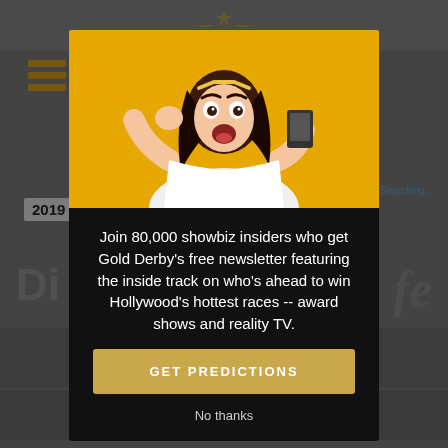[Figure (screenshot): Website background showing Gold Derby page with hamburger menu, year 2019, and partial footer links]
[Figure (photo): Modal popup with photo of surprised woman against orange background, newsletter signup text, GET PREDICTIONS button, and No thanks link]
Join 80,000 showbiz insiders who get Gold Derby's free newsletter featuring the inside track on who's ahead to win Hollywood's hottest races -- award shows and reality TV.
GET PREDICTIONS
No thanks
WWD
FN